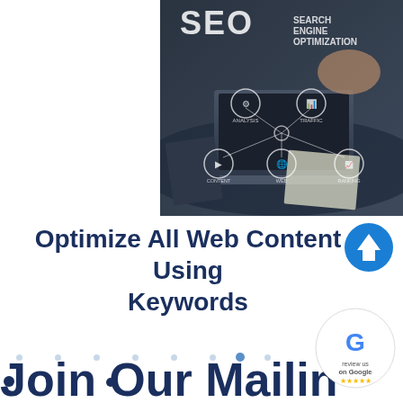[Figure (photo): SEO (Search Engine Optimization) promotional image showing a person working at a laptop with overlaid icons for Analysis, Traffic, Content, Web, and Ranking connected by lines on a dark background. Large text reads 'SEO SEARCH ENGINE OPTIMIZATION'.]
Optimize All Web Content Using Keywords
[Figure (illustration): Blue circular arrow-up icon/button]
[Figure (logo): Google 'Review us on Google' badge with Google G logo and 5 stars]
Join Our Mailing